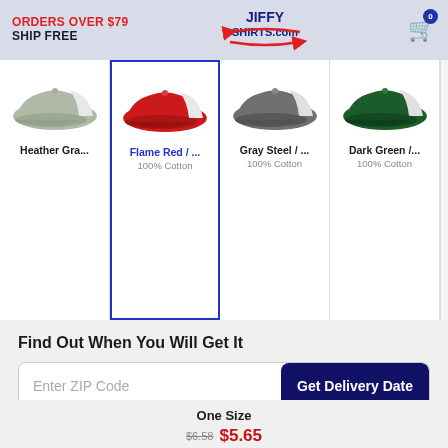ORDERS OVER $79 SHIP FREE | JIFFY SHIRTS.com | Cart: 0
[Figure (photo): Heather Gray/White trucker cap]
[Figure (photo): Flame Red/White trucker cap (selected)]
[Figure (photo): Gray Steel/White trucker cap]
[Figure (photo): Dark Green/White trucker cap]
Heather Gra...
Flame Red / ... 100% Cotton
Gray Steel / ... 100% Cotton
Dark Green /... 100% Cotton
Find Out When You Will Get It
Enter ZIP Code
Get Delivery Date
One Size
$6.58
$5.65